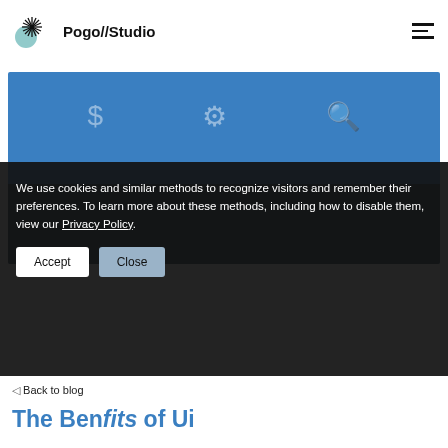Pogo//Studio
[Figure (screenshot): Blue section with dollar sign, gear, and magnifying glass icons above a dark screenshot of a UI]
We use cookies and similar methods to recognize visitors and remember their preferences. To learn more about these methods, including how to disable them, view our Privacy Policy.
Accept | Close
◁ Back to blog
The Ben fits of Ui...